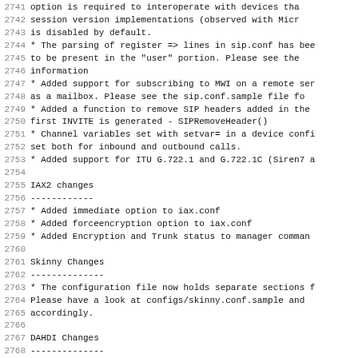2741   option is required to interoperate with devices tha
2742   session version implementations (observed with Micr
2743   is disabled by default.
2744 * The parsing of register => lines in sip.conf has be
2745   to be present in the "user" portion. Please see the
2746   information
2747 * Added support for subscribing to MWI on a remote se
2748   as a mailbox. Please see the sip.conf.sample file f
2749 * Added a function to remove SIP headers added in the
2750   first INVITE is generated - SIPRemoveHeader()
2751 * Channel variables set with setvar= in a device conf
2752   set both for inbound and outbound calls.
2753 * Added support for ITU G.722.1 and G.722.1C (Siren7
2754
2755 IAX2 changes
2756 ------------
2757   * Added immediate option to iax.conf
2758   * Added forceencryption option to iax.conf
2759   * Added Encryption and Trunk status to manager comma
2760
2761 Skinny Changes
2762 --------------
2763   * The configuration file now holds separate sections
2764     Please have a look at configs/skinny.conf.sample an
2765     accordingly.
2766
2767 DAHDI Changes
2768 --------------
2769   * chan_dahdi now supports MFC/R2 signaling when Aste
2770     support for LibOpenR2.  http://www.libopenr2.org/
2771   * The UK option waitfordialtone has been added for u
2772     lines.
2773   * Adde...